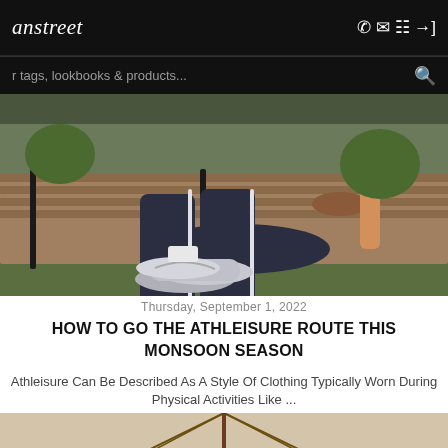anstreet
r tags, lookbooks & products...
[Figure (photo): Person seated on a park bench wearing dark navy athletic tracksuit with white side stripe and grey sneakers, legs crossed, outdoor setting with green background]
Thursday, September 1, 2022
HOW TO GO THE ATHLEISURE ROUTE THIS MONSOON SEASON
Athleisure Can Be Described As A Style Of Clothing Typically Worn During Physical Activities Like ...
[Figure (photo): Two people smiling under a large brown plaid umbrella, partial view showing tops of their heads and the umbrella canopy, warm beige background]